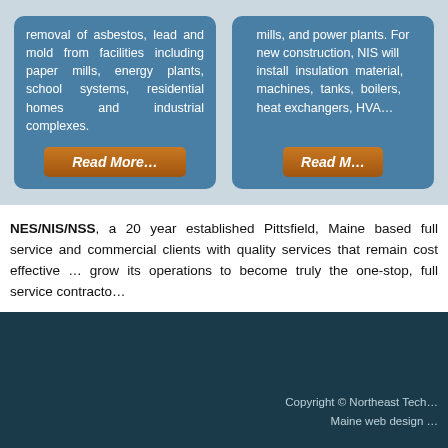removal of asbestos, lead and mold from facilities including paper mills, energy plants, school systems, residential homes and industrial complexes.
Read More…
mills, and power plants. For new construction, NIS will install insulation material, machines, tanks, boilers, heat exchangers, HVA…
Read M…
NES/NIS/NSS, a 20 year established Pittsfield, Maine based full service company providing residential and commercial clients with quality services that remain cost effective and dependable. Our goal is to grow its operations to become truly the one-stop, full service contractor…
Copyright © Northeast Tech…
Maine web design …